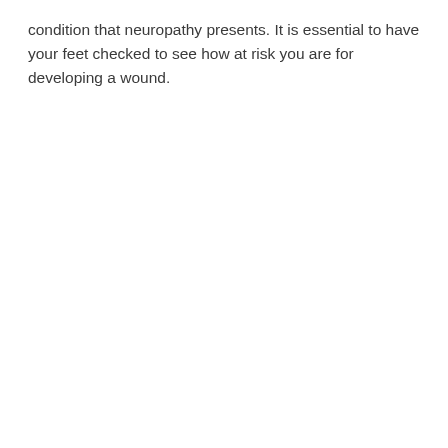condition that neuropathy presents. It is essential to have your feet checked to see how at risk you are for developing a wound.